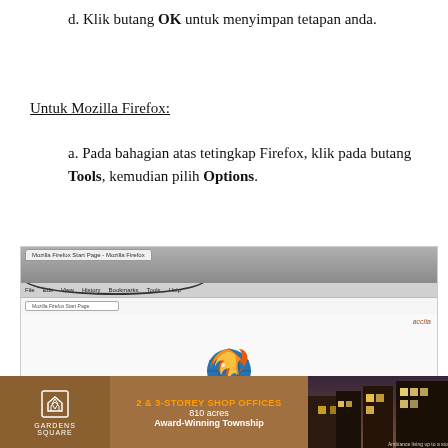d. Klik butang OK untuk menyimpan tetapan anda.
Untuk Mozilla Firefox:
a. Pada bahagian atas tetingkap Firefox, klik pada butang Tools, kemudian pilih Options.
[Figure (screenshot): Screenshot of Mozilla Firefox browser window showing the menu bar with an oval highlighting the Tools menu area. The Firefox logo (orange and blue fox/flame) is visible in the center of the browser content area.]
[Figure (photo): Advertisement banner for Gardens Square: 2 & 3-Storey Shop Offices, 810 acres, Award-Winning Township, with building photo on right side.]